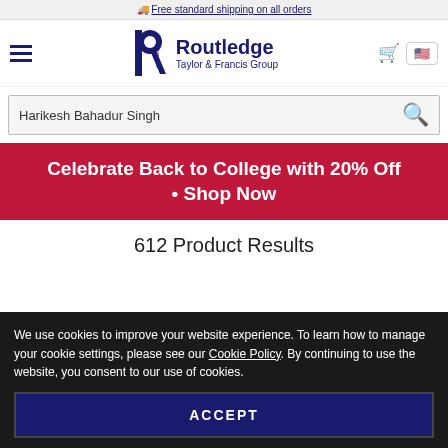🚚 Free standard shipping on all orders
[Figure (logo): Routledge Taylor & Francis Group logo with hamburger menu, cart icon, and US flag button]
Harikesh Bahadur Singh
Celebrate Back to College with 20% Off • Shop Now
612 Product Results
We use cookies to improve your website experience. To learn how to manage your cookie settings, please see our Cookie Policy. By continuing to use the website, you consent to our use of cookies.
ACCEPT